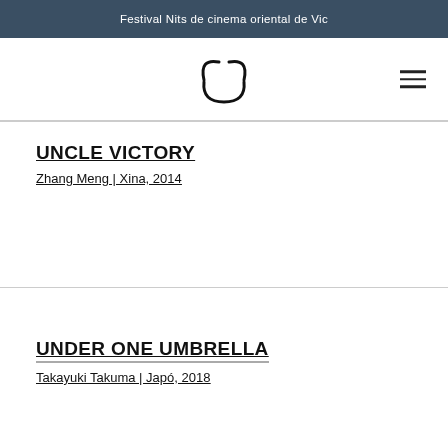Festival Nits de cinema oriental de Vic
[Figure (logo): Cat face logo with two arcs for ears and a circular mouth/nose shape, rendered as a simple line drawing]
UNCLE VICTORY
Zhang Meng | Xina, 2014
UNDER ONE UMBRELLA
Takayuki Takuma | Japó, 2018